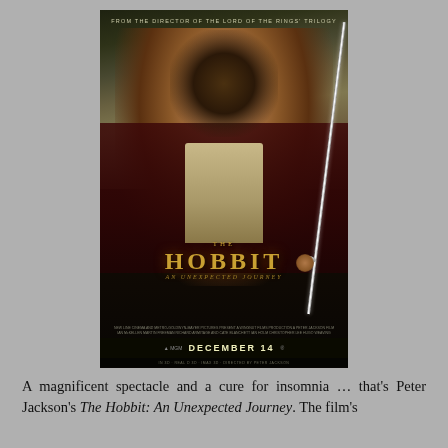[Figure (photo): Movie poster for The Hobbit: An Unexpected Journey. Shows a man (Bilbo Baggins) holding a glowing sword upward, dressed in a burgundy jacket, with dramatic cloudy sky and countryside background. Text at top reads 'FROM THE DIRECTOR OF THE LORD OF THE RINGS TRILOGY'. Large stylized title 'THE HOBBIT AN UNEXPECTED JOURNEY' in golden lettering. Bottom shows 'DECEMBER 14' release date and MGM studio logos.]
A magnificent spectacle and a cure for insomnia … that's Peter Jackson's The Hobbit: An Unexpected Journey. The film's